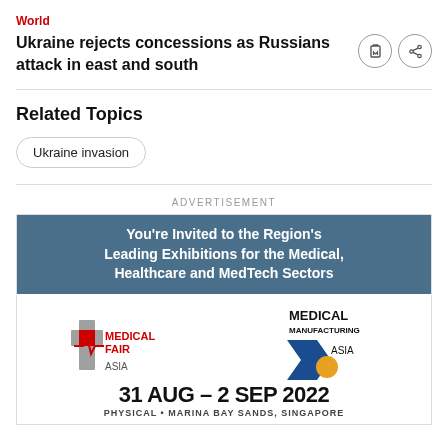World
Ukraine rejects concessions as Russians attack in east and south
Related Topics
Ukraine invasion
ADVERTISEMENT
[Figure (infographic): Advertisement for Medical Fair Asia and Medical Manufacturing Asia exhibitions. Text: You're Invited to the Region's Leading Exhibitions for the Medical, Healthcare and MedTech Sectors. Logos for Medical Fair Asia and Medical Manufacturing Asia. Date: 31 AUG – 2 SEP 2022. Physical • Marina Bay Sands, Singapore.]